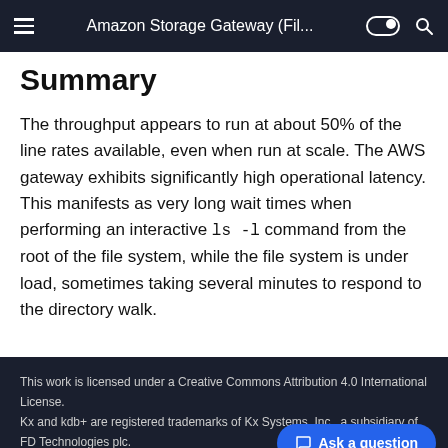Amazon Storage Gateway (Fil...
Summary
The throughput appears to run at about 50% of the line rates available, even when run at scale. The AWS gateway exhibits significantly high operational latency. This manifests as very long wait times when performing an interactive ls -1 command from the root of the file system, while the file system is under load, sometimes taking several minutes to respond to the directory walk.
This work is licensed under a Creative Commons Attribution 4.0 International License.
Kx and kdb+ are registered trademarks of Kx Systems, Inc., a subsidiary of FD Technologies plc.
Made with Material for MkDocs Insiders